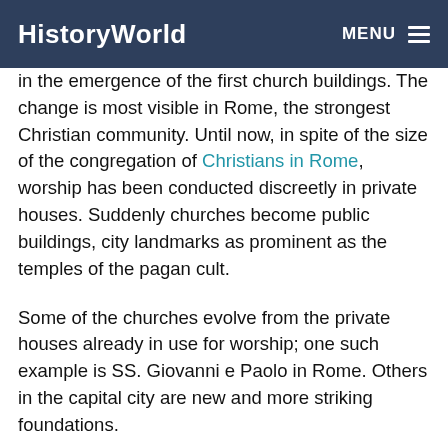HistoryWorld
in the emergence of the first church buildings. The change is most visible in Rome, the strongest Christian community. Until now, in spite of the size of the congregation of Christians in Rome, worship has been conducted discreetly in private houses. Suddenly churches become public buildings, city landmarks as prominent as the temples of the pagan cult.
Some of the churches evolve from the private houses already in use for worship; one such example is SS. Giovanni e Paolo in Rome. Others in the capital city are new and more striking foundations.
Constantine establishes three important churches in Rome. One, intended to be the city's cathedral, is sited immediately beside his own Lateran palace - already